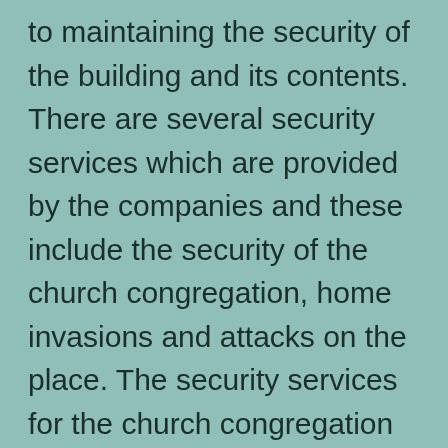to maintaining the security of the building and its contents. There are several security services which are provided by the companies and these include the security of the church congregation, home invasions and attacks on the place. The security services for the church congregation include the security of the church premises and the surroundings of the church. This security is provided by the companies which have surveillance systems, security guards and other staff to ensure the safety of the flock and the surrounding area. The security services for the home invasions and attacks include the